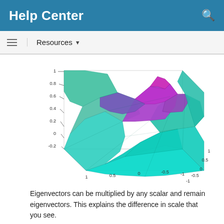Help Center
Resources
[Figure (continuous-plot): 3D surface plot showing an eigenfunction over a square domain from -1 to 1 on both axes. The surface peaks at approximately 1 near the center-back region and dips to about -0.2 at the front. Colors range from cyan/teal at low values to magenta/purple at the peak. Z-axis labels: -0.2, 0, 0.2, 0.4, 0.6, 0.8, 1. X and Y axes both range from -1 to 1.]
Eigenvectors can be multiplied by any scalar and remain eigenvectors. This explains the difference in scale that you see.
membrane can produce the first 12 eigenfunctions for the L-